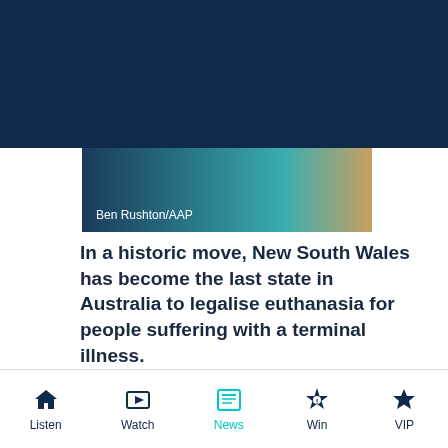[Figure (photo): Dark navy header background with a partial image strip showing a person in teal/turquoise clothing, credited to Ben Rushton/AAP]
Ben Rushton/AAP
In a historic move, New South Wales has become the last state in Australia to legalise euthanasia for people suffering with a terminal illness.
Spearheaded by Sydney Independent MP Alex Greenwich, the Voluntary Assisted Dying Bill passed through the Legislative Council about midday before the Lower House of parliament
Listen   Watch   News   Win   VIP